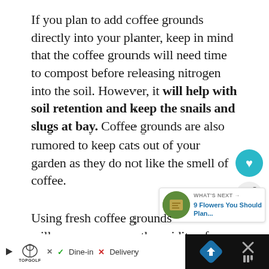If you plan to add coffee grounds directly into your planter, keep in mind that the coffee grounds will need time to compost before releasing nitrogen into the soil. However, it will help with soil retention and keep the snails and slugs at bay. Coffee grounds are also rumored to keep cats out of your garden as they do not like the smell of coffee.
Using fresh coffee grounds will [increase] the acidity of your soil and should
[Figure (other): Circular teal heart/like button icon]
[Figure (other): Circular light share button icon]
[Figure (other): What's Next panel with thumbnail image and text '9 Flowers You Should Plan...']
[Figure (other): Bottom advertisement bar for Topgolf showing Dine-in and Delivery options, with navigation arrow and X close button on dark background]